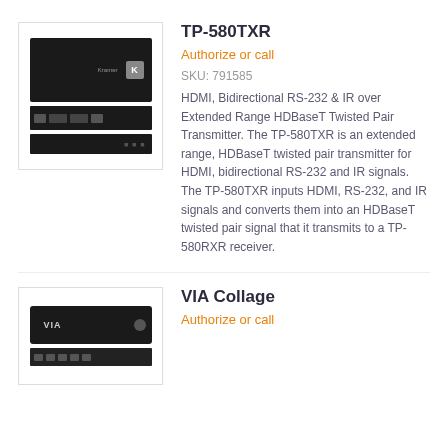[Figure (photo): Product photo of TP-580TXR device showing top, front panel with ports, and side views of a black hardware unit]
TP-580TXR
Authorize or call
SKU: 791585
HDMI, Bidirectional RS-232 & IR over Extended Range HDBaseT Twisted Pair Transmitter. The TP-580TXR is an extended range, HDBaseT twisted pair transmitter for HDMI, bidirectional RS-232 and IR signals. The TP-580TXR inputs HDMI, RS-232, and IR signals and converts them into an HDBaseT twisted pair signal that it transmits to a TP-580RXR receiver.
[Figure (photo): Product photo of VIA Collage device showing a black set-top box style unit]
VIA Collage
Authorize or call